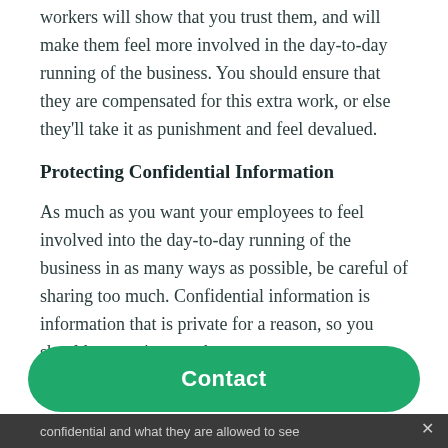workers will show that you trust them, and will make them feel more involved in the day-to-day running of the business. You should ensure that they are compensated for this extra work, or else they'll take it as punishment and feel devalued.
Protecting Confidential Information
As much as you want your employees to feel involved into the day-to-day running of the business in as many ways as possible, be careful of sharing too much. Confidential information is information that is private for a reason, so you should ensure it stays that way.
confidential and what they are allowed to see